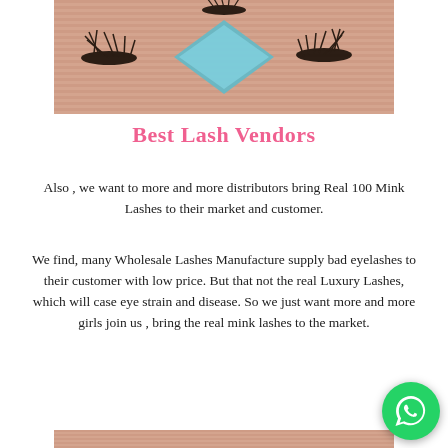[Figure (photo): Product photo of false mink eyelashes displayed on a peach/salmon colored corrugated background with a teal/blue diamond-shaped box in the center, showing multiple lash styles]
Best Lash Vendors
Also , we want to more and more distributors bring Real 100 Mink Lashes to their market and customer.
We find, many Wholesale Lashes Manufacture supply bad eyelashes to their customer with low price. But that not the real Luxury Lashes, which will case eye strain and disease. So we just want more and more girls join us , bring the real mink lashes to the market.
[Figure (photo): Partial product photo of false mink eyelashes on peach/salmon corrugated background, partially cropped at bottom of page]